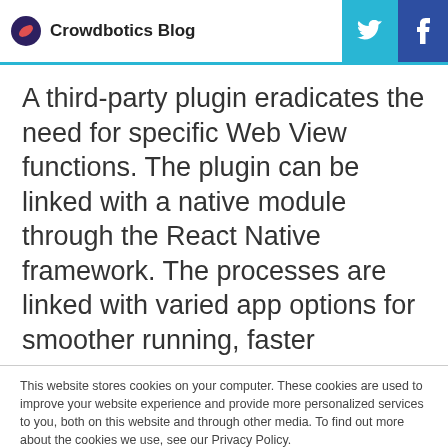Crowdbotics Blog
A third-party plugin eradicates the need for specific Web View functions. The plugin can be linked with a native module through the React Native framework. The processes are linked with varied app options for smoother running, faster
This website stores cookies on your computer. These cookies are used to improve your website experience and provide more personalized services to you, both on this website and through other media. To find out more about the cookies we use, see our Privacy Policy.
We won't track your information when you visit our site. But in order to comply with your preferences, we'll have to use just one tiny cookie so that you're not asked to make this choice again.
Accept
Decline